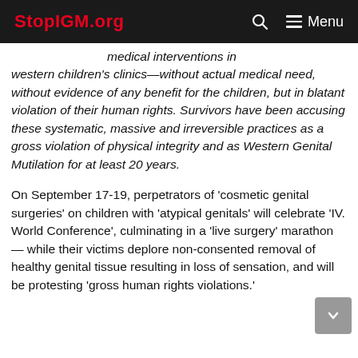StopIGM.org  [search icon]  Menu
medical interventions in western children's clinics—without actual medical need, without evidence of any benefit for the children, but in blatant violation of their human rights. Survivors have been accusing these systematic, massive and irreversible practices as a gross violation of physical integrity and as Western Genital Mutilation for at least 20 years.
On September 17-19, perpetrators of 'cosmetic genital surgeries' on children with 'atypical genitals' will celebrate 'IV. World Conference', culminating in a 'live surgery' marathon — while their victims deplore non-consented removal of healthy genital tissue resulting in loss of sensation, and will be protesting 'gross human rights violations.'